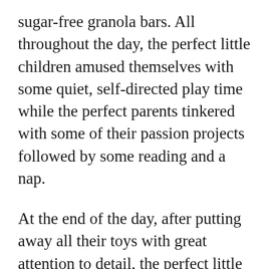sugar-free granola bars. All throughout the day, the perfect little children amused themselves with some quiet, self-directed play time while the perfect parents tinkered with some of their passion projects followed by some reading and a nap.
At the end of the day, after putting away all their toys with great attention to detail, the perfect little children appreciatively sat for a wholesome, plant-based dinner, conversing about the joys of their day. Then the perfect little children willingly retired to their bedrooms to tuck themselves in while their